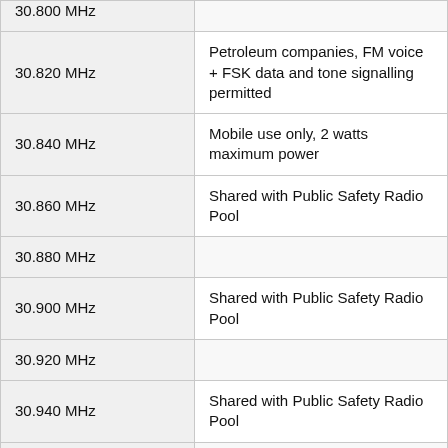| Frequency | Notes |
| --- | --- |
| 30.800 MHz |  |
| 30.820 MHz | Petroleum companies, FM voice + FSK data and tone signalling permitted |
| 30.840 MHz | Mobile use only, 2 watts maximum power |
| 30.860 MHz | Shared with Public Safety Radio Pool |
| 30.880 MHz |  |
| 30.900 MHz | Shared with Public Safety Radio Pool |
| 30.920 MHz |  |
| 30.940 MHz | Shared with Public Safety Radio Pool |
| 30.960 MHz |  |
| 30.980 MHz | Shared with Public Safety Radio Pool |
| 31.000 MHz |  |
| 31.020 MHz | Shared with Public Safety Radio Pool |